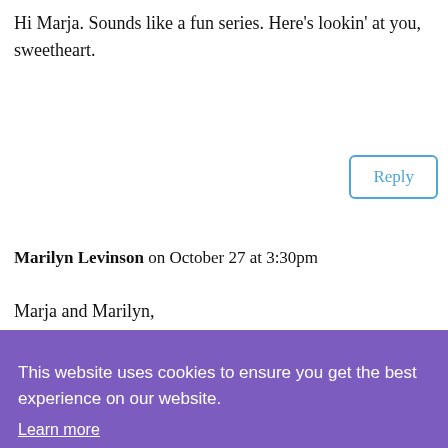Hi Marja. Sounds like a fun series. Here's lookin' at you, sweetheart.
Reply
Marilyn Levinson on October 27 at 3:30pm
Marja and Marilyn,
A great post, Marja. I must start reading
This website uses cookies to ensure you get the best experience on our website.
Learn more
Got it
Great interview, Marja. This made me...